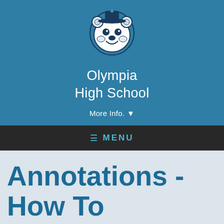[Figure (logo): Olympia High School mascot logo - a bear face wearing a hat, in navy blue and white]
Olympia High School
More Info. ▾
≡  MENU
Annotations - How To
▶  Annotations - How To